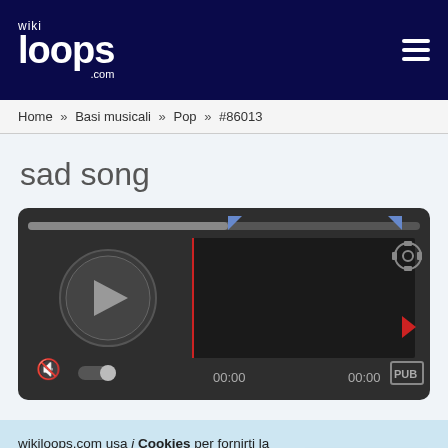[Figure (logo): Wikiloops.com logo — white text on dark navy background with hamburger menu icon]
Home » Basi musicali » Pop » #86013
sad song
[Figure (screenshot): Audio player widget with play button, waveform area, time display 00:00 / 00:00, volume control, PUB label, flag icon, and settings gear icon on dark background]
wikiloops.com usa i Cookies per fornirti la miglior esperienza di navigazione. Leggi di più nella nostra nota sulla tutela dei dati personali .